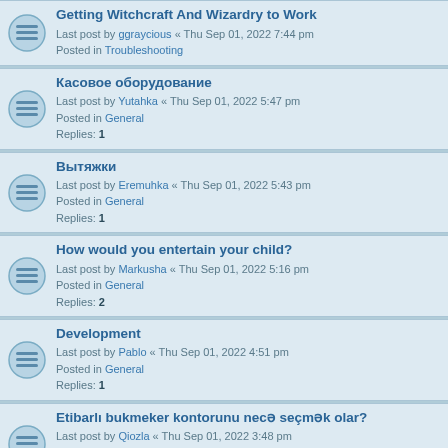Getting Witchcraft And Wizardry to Work
Last post by ggraycious « Thu Sep 01, 2022 7:44 pm
Posted in Troubleshooting
Касовое оборудование
Last post by Yutahka « Thu Sep 01, 2022 5:47 pm
Posted in General
Replies: 1
Вытяжки
Last post by Eremuhka « Thu Sep 01, 2022 5:43 pm
Posted in General
Replies: 1
How would you entertain your child?
Last post by Markusha « Thu Sep 01, 2022 5:16 pm
Posted in General
Replies: 2
Development
Last post by Pablo « Thu Sep 01, 2022 4:51 pm
Posted in General
Replies: 1
Etibarlı bukmeker kontorunu necə seçmək olar?
Last post by Qiozla « Thu Sep 01, 2022 3:48 pm
Posted in Troubleshooting
Replies: 1
Software Development
Last post by Alabek « Thu Sep 01, 2022 3:47 pm
Posted in General
Replies: 5
Children and vacation
Last post by xononer « Thu Sep 01, 2022 3:28 pm